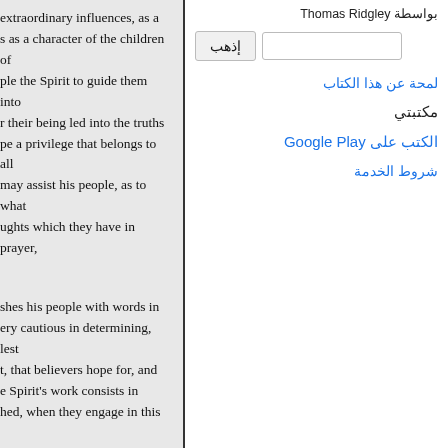extraordinary influences, as a s as a character of the children of ple the Spirit to guide them into r their being led into the truths pe a privilege that belongs to all may assist his people, as to what ughts which they have in prayer,
shes his people with words in ery cautious in determining, lest t, that believers hope for, and e Spirit's work consists in hed, when they engage in this
ich are more immediately ting believers, when they know t cannot be uttered: that is, he avenly, which they sometimes, e of their spirits may be under a usly hears and answers their
بواسطة Thomas Ridgley
إذهب
لمحة عن هذا الكتاب
مكتبتي
الكتب على Google Play
شروط الخدمة